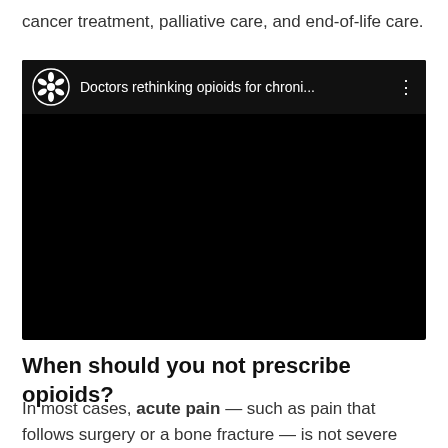cancer treatment, palliative care, and end-of-life care.
[Figure (screenshot): Embedded video player with CBC logo and title 'Doctors rethinking opioids for chroni...' on a black background]
When should you not prescribe opioids?
In most cases, acute pain — such as pain that follows surgery or a bone fracture — is not severe enough to require opioids for more than three days. Avoid or delay